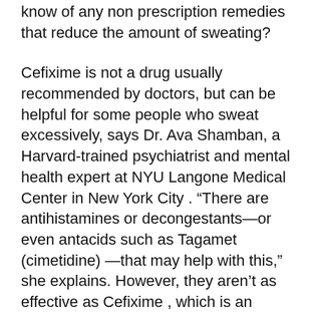know of any non prescription remedies that reduce the amount of sweating?
Cefixime is not a drug usually recommended by doctors, but can be helpful for some people who sweat excessively, says Dr. Ava Shamban, a Harvard-trained psychiatrist and mental health expert at NYU Langone Medical Center in New York City . “There are antihistamines or decongestants—or even antacids such as Tagamet (cimetidine) —that may help with this,” she explains. However, they aren’t as effective as Cefixime , which is an antibiotic used primarily to treat infections such as urinary tract infection or pneumonia . It’s also available generically under other brand names like Zithromax (azithromycin). According to the National